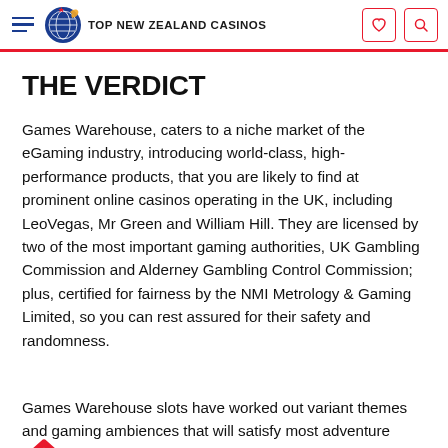TOP NEW ZEALAND CASINOS
THE VERDICT
Games Warehouse, caters to a niche market of the eGaming industry, introducing world-class, high-performance products, that you are likely to find at prominent online casinos operating in the UK, including LeoVegas, Mr Green and William Hill. They are licensed by two of the most important gaming authorities, UK Gambling Commission and Alderney Gambling Control Commission; plus, certified for fairness by the NMI Metrology & Gaming Limited, so you can rest assured for their safety and randomness.
Games Warehouse slots have worked out variant themes and gaming ambiences that will satisfy most adventure seeking gamers. All the titles have something to offer...